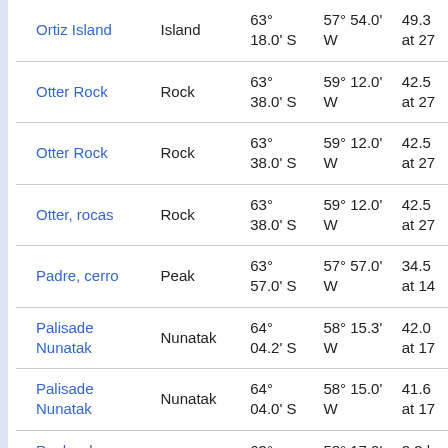| Name | Type | Latitude | Longitude | Other |
| --- | --- | --- | --- | --- |
| Ortiz Island | Island | 63° 18.0' S | 57° 54.0' W | 49.3 at 27 |
| Otter Rock | Rock | 63° 38.0' S | 59° 12.0' W | 42.5 at 27 |
| Otter Rock | Rock | 63° 38.0' S | 59° 12.0' W | 42.5 at 27 |
| Otter, rocas | Rock | 63° 38.0' S | 59° 12.0' W | 42.5 at 27 |
| Padre, cerro | Peak | 63° 57.0' S | 57° 57.0' W | 34.5 at 14 |
| Palisade Nunatak | Nunatak | 64° 04.2' S | 58° 15.3' W | 42.0 at 17 |
| Palisade Nunatak | Nunatak | 64° 04.0' S | 58° 15.0' W | 41.6 at 17 |
| Panhard Nunatak | Nunatak | 63° 42.0' S | 58° 17.0' W | 3.3 k 100° |